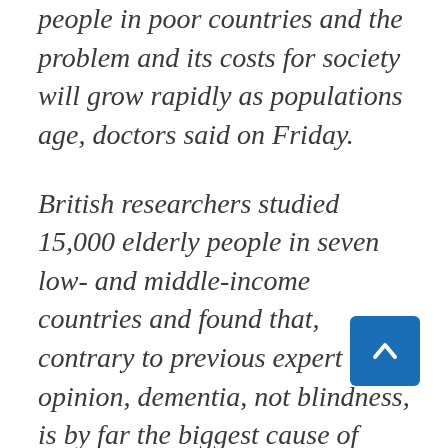people in poor countries and the problem and its costs for society will grow rapidly as populations age, doctors said on Friday.
British researchers studied 15,000 elderly people in seven low- and middle-income countries and found that, contrary to previous expert opinion, dementia, not blindness, is by far the biggest cause of poor health in old age.
Renata Sousa of the Institute of